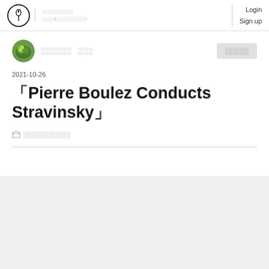Login Sign up
[Figure (other): User avatar - green circular profile photo]
󿿿󿿿󿿿󿿿󿿿  󿿿󿿿󿿿
󿿿󿿿󿿿󿿿󿿿
2021-10-26
［Pierre Boulez Conducts Stravinsky］
󿿿󿿿󿿿󿿿󿿿󿿿󿿿󿿿󿿿